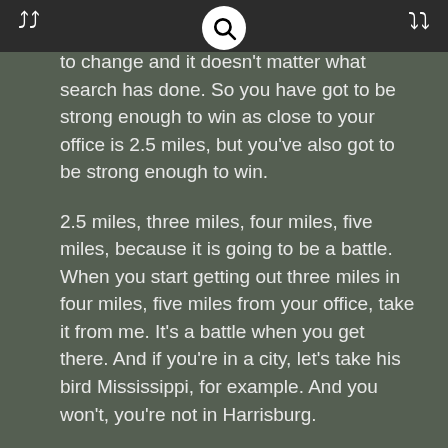navigation bar with search icon
to change and it doesn't matter what search has done. So you have got to be strong enough to win as close to your office is 2.5 miles, but you've also got to be strong enough to win.
2.5 miles, three miles, four miles, five miles, because it is going to be a battle. When you start getting out three miles in four miles, five miles from your office, take it from me. It's a battle when you get there. And if you're in a city, let's take his bird Mississippi, for example. And you won't, you're not in Harrisburg.
You're actually in Purvis because I have a client there and you want to rank. And how does bark, which is the bigger city. And that's a very common thing, whether it's Denham Springs to Louisiana. To Baton Rouge, Denham Springs is basically a suburb of Baton Rouge. If you will know the truth, but to be in denim and right, or the Baton Rouge keywords is that, uh, you know, those, those